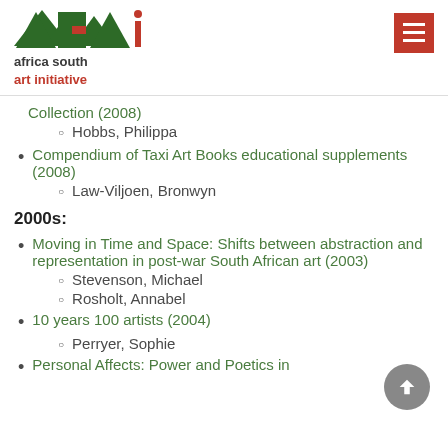[Figure (logo): ASAI Africa South Art Initiative logo with triangle shapes in dark green and red]
Collection (2008)
Hobbs, Philippa
Compendium of Taxi Art Books educational supplements (2008)
Law-Viljoen, Bronwyn
2000s:
Moving in Time and Space: Shifts between abstraction and representation in post-war South African art (2003)
Stevenson, Michael
Rosholt, Annabel
10 years 100 artists (2004)
Perryer, Sophie
Personal Affects: Power and Poetics in